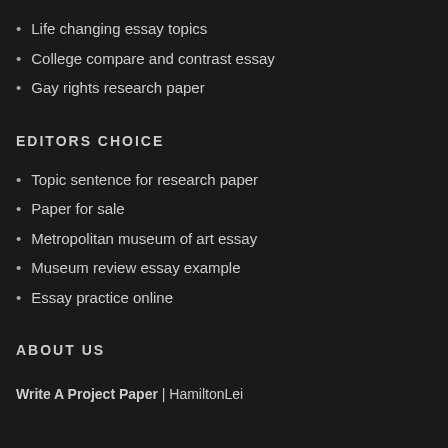Life changing essay topics
College compare and contrast essay
Gay rights research paper
EDITORS CHOICE
Topic sentence for research paper
Paper for sale
Metropolitan museum of art essay
Museum review essay example
Essay practice online
ABOUT US
Write A Project Paper | HamiltonLei